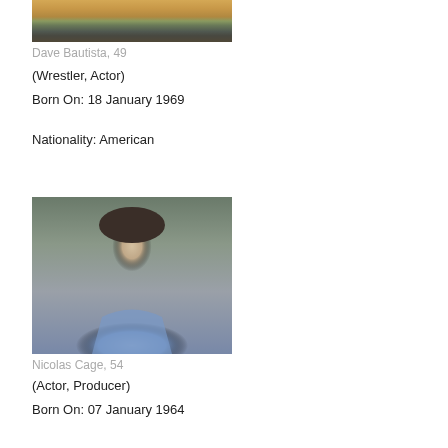[Figure (photo): Top portion of Dave Bautista photo, cropped at top]
Dave Bautista, 49
(Wrestler, Actor)
Born On: 18 January 1969
Nationality: American
[Figure (photo): Headshot of Nicolas Cage wearing a blue shirt, looking at camera]
Nicolas Cage, 54
(Actor, Producer)
Born On: 07 January 1964